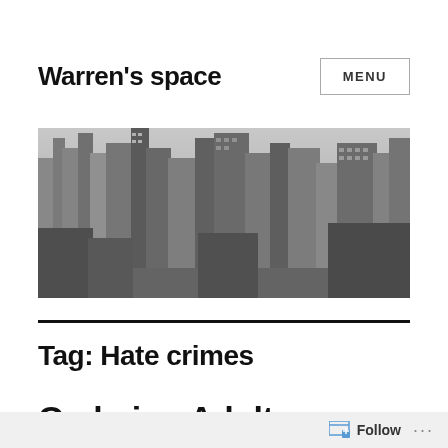Warren's space
[Figure (photo): Black and white aerial panorama of a dense urban cityscape with skyscrapers]
Tag: Hate crimes
On being Adults